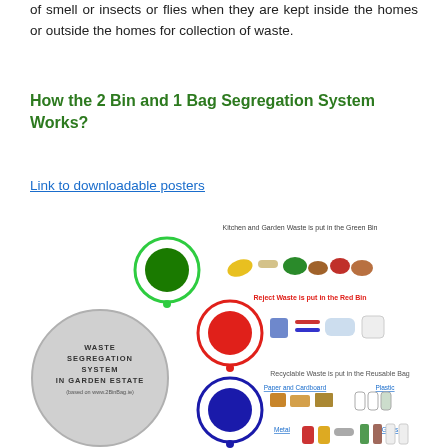of smell or insects or flies when they are kept inside the homes or outside the homes for collection of waste.
How the 2 Bin and 1 Bag Segregation System Works?
Link to downloadable posters
[Figure (infographic): Waste Segregation System infographic showing a large grey circle labeled 'Waste Segregation System in Garden Estate (based on www.2BinBag.ie)', a green bin circle with kitchen and garden waste items (banana peel, bones, vegetables, spices, dried flowers, bowl), a red bin circle with reject waste items (plastic bags, pens, sanitary pad, container), and a blue bin circle with recyclable waste items including Paper and Cardboard (boxes, bottles) and Plastic (bottles, containers), Metal (cans, cylinders), and Glass (bottles). Labels: 'Kitchen and Garden Waste is put in the Green Bin', 'Reject Waste is put in the Red Bin' (in red), 'Recyclable Waste is put in the Reusable Bag'.]